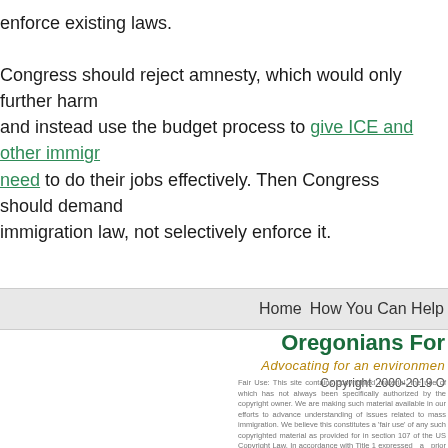enforce existing laws.

Congress should reject amnesty, which would only further harm and instead use the budget process to give ICE and other immigration agencies the resources they need to do their jobs effectively. Then Congress should demand immigration law, not selectively enforce it.
Home   How You Can Help
Oregonians For
Advocating for an environment
Copyright 2000-2019 O
Fair Use: This site contains copyrighted material, the use of which has not always been specifically authorized by the copyright owner. We are making such material available in our efforts to advance understanding of issues related to mass immigration. We believe this constitutes a 'fair use' of any such copyrighted material as provided for in section 107 of the US Copyright Law. In accordance with Title 17 U.S.C. Section 107, the material on this site is distributed without profit to those who have expressed a prior interest in receiving the included information for research and educational purposes. For more information go to: https://www.law.cornell.edu/uscode/text/17/107, https://www.law.cornell.edu/uscode/text/17/107, https://www.law.cornell.edu/wex/fair_use. In order to use copyrighted material from this site for purposes of your own that go beyond fair use, you must obtain permission from the copyright owner.